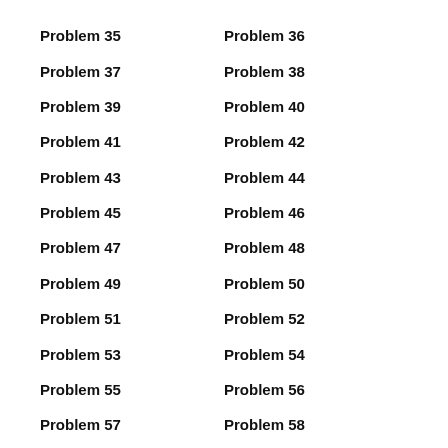Problem 35
Problem 36
Problem 37
Problem 38
Problem 39
Problem 40
Problem 41
Problem 42
Problem 43
Problem 44
Problem 45
Problem 46
Problem 47
Problem 48
Problem 49
Problem 50
Problem 51
Problem 52
Problem 53
Problem 54
Problem 55
Problem 56
Problem 57
Problem 58
Problem 59
Problem 60
Problem 61
Problem 62
Problem 63
Problem 64